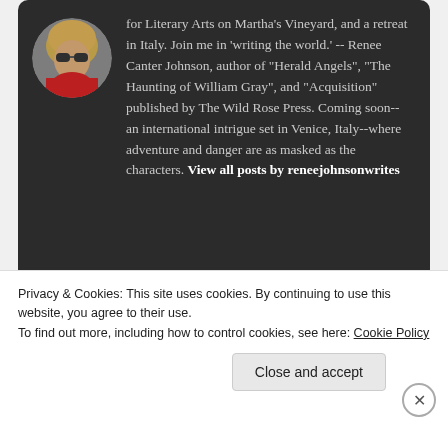[Figure (photo): Circular avatar photo of a person with blonde hair and sunglasses wearing a red scarf]
for Literary Arts on Martha's Vineyard, and a retreat in Italy. Join me in 'writing the world.' -- Renee Canter Johnson, author of "Herald Angels", "The Haunting of William Gray", and "Acquisition" published by The Wild Rose Press. Coming soon--an international intrigue set in Venice, Italy--where adventure and danger are as masked as the characters. View all posts by reneejohnsonwrites
Privacy & Cookies: This site uses cookies. By continuing to use this website, you agree to their use.
To find out more, including how to control cookies, see here: Cookie Policy
Close and accept